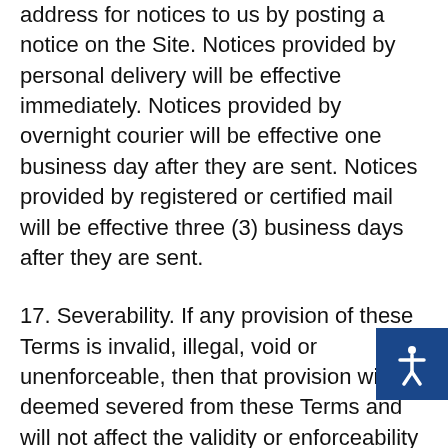address for notices to us by posting a notice on the Site. Notices provided by personal delivery will be effective immediately. Notices provided by overnight courier will be effective one business day after they are sent. Notices provided by registered or certified mail will be effective three (3) business days after they are sent.
17. Severability. If any provision of these Terms is invalid, illegal, void or unenforceable, then that provision will be deemed severed from these Terms and will not affect the validity or enforceability of the remaining provisions of these Terms.